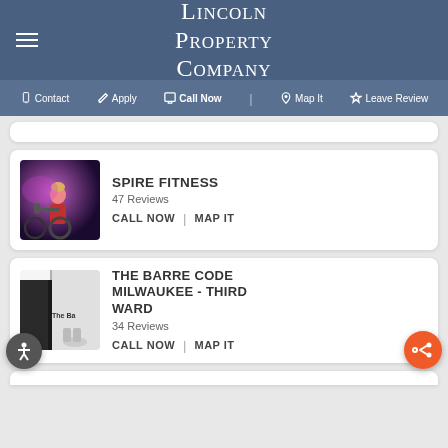Lincoln Property Company
Contact | Apply | Call Now | Map It | Leave Review
SPIRE FITNESS
47 Reviews
CALL NOW | MAP IT
THE BARRE CODE MILWAUKEE - THIRD WARD
34 Reviews
CALL NOW | MAP IT